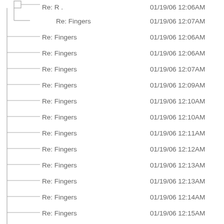Re: R .   01/19/06 12:06AM
Re: Fingers   01/19/06 12:07AM
Re: Fingers   01/19/06 12:06AM
Re: Fingers   01/19/06 12:06AM
Re: Fingers   01/19/06 12:07AM
Re: Fingers   01/19/06 12:09AM
Re: Fingers   01/19/06 12:10AM
Re: Fingers   01/19/06 12:10AM
Re: Fingers   01/19/06 12:11AM
Re: Fingers   01/19/06 12:12AM
Re: Fingers   01/19/06 12:13AM
Re: Fingers   01/19/06 12:13AM
Re: Fingers   01/19/06 12:14AM
Re: Fingers   01/19/06 12:15AM